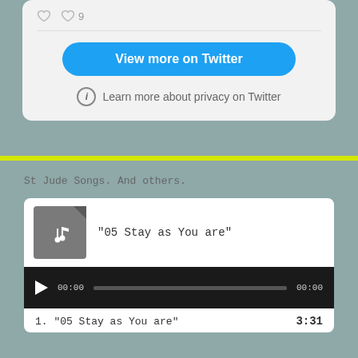[Figure (screenshot): Twitter embed card bottom portion showing heart/like icons, a blue 'View more on Twitter' button, and a privacy info line]
St Jude Songs. And others.
[Figure (screenshot): Music player widget showing track '05 Stay as You are' with album art thumbnail, audio progress bar showing 00:00 / 00:00, and track listing item '1. 05 Stay as You are' with duration 3:31]